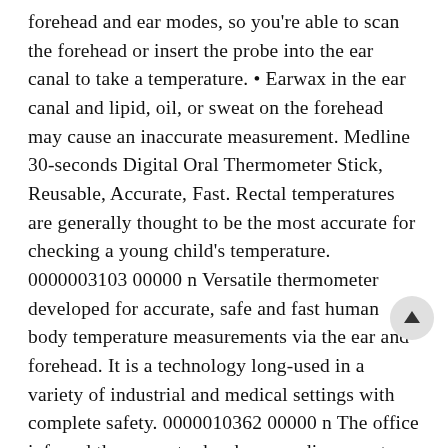forehead and ear modes, so you're able to scan the forehead or insert the probe into the ear canal to take a temperature. • Earwax in the ear canal and lipid, oil, or sweat on the forehead may cause an inaccurate measurement. Medline 30-seconds Digital Oral Thermometer Stick, Reusable, Accurate, Fast. Rectal temperatures are generally thought to be the most accurate for checking a young child's temperature. 0000003103 00000 n Versatile thermometer developed for accurate, safe and fast human body temperature measurements via the ear and forehead. It is a technology long-used in a variety of industrial and medical settings with complete safety. 0000010362 00000 n The office infrared thermometer has been reading me at 97.4.. Most electronic thermometers have a digital display that shows you the temperature reading. We have a